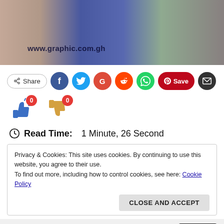[Figure (photo): Photo banner showing people, with watermark text www.graphic.com.gh]
[Figure (infographic): Social share bar with Share button, Facebook, Twitter, Google+, Reddit, WhatsApp, Pinterest Save, and Email icons]
[Figure (infographic): Thumbs up with badge 0 and thumbs down with badge 0 voting buttons]
Read Time:  1 Minute, 26 Second
Privacy & Cookies: This site uses cookies. By continuing to use this website, you agree to their use.
To find out more, including how to control cookies, see here: Cookie Policy
CLOSE AND ACCEPT
you're ok with this, but you can opt-out if you wish.
Accept
Read More